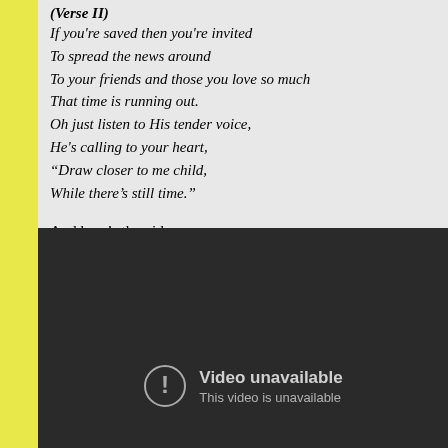(Verse II)
If you're saved then you're invited
To spread the news around
To your friends and those you love so much
That time is running out.
Oh just listen to His tender voice,
He's calling to your heart,
“Draw closer to me child,
While there’s still time.”
And here’s the video…
[Figure (screenshot): Embedded video player showing 'Video unavailable - This video is unavailable' error message on a dark background.]